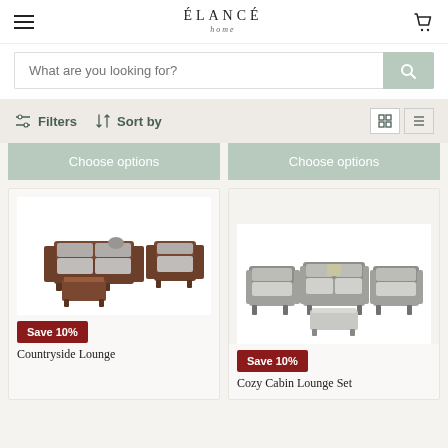ÉLANCÉ home — navigation header with hamburger menu and cart icon
What are you looking for?
Filters  Sort by
Choose options  Choose options
[Figure (photo): Brown wicker outdoor lounge set with grey cushions — sofa, armchair and coffee table]
Save 10%
Countryside Lounge
[Figure (photo): Grey upholstered outdoor lounge set with sofa, armchairs and coffee table]
Save 10%
Cozy Cabin Lounge Set